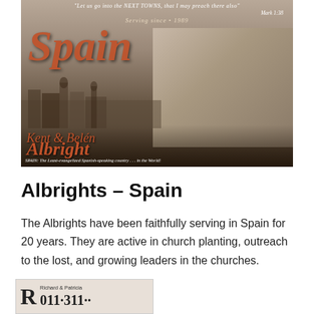[Figure (photo): Missionary newsletter cover for Kent & Belen Albright - Spain. Shows a couple (woman with gray hair, man in suit) against a sepia background of Spanish city architecture. Text reads: 'Let us go into the NEXT TOWNS, that I may preach there also' Mark 1:38, Serving since 1989, Spain, Kent & Belen Albright, SPAIN: The Least-evangelized Spanish-speaking country...in the World!]
Albrights – Spain
The Albrights have been faithfully serving in Spain for 20 years. They are active in church planting, outreach to the lost, and growing leaders in the churches.
[Figure (photo): Partial image at bottom showing 'Richard & Patricia' with large letter R and partial phone number]